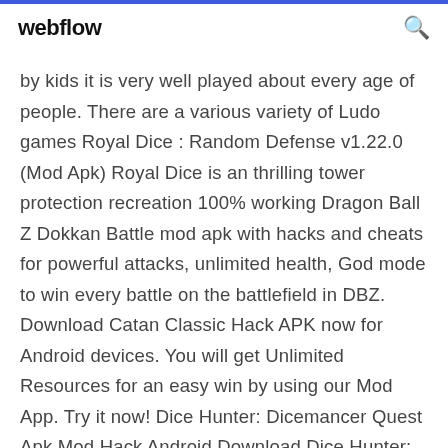webflow
by kids it is very well played about every age of people. There are a various variety of Ludo games Royal Dice : Random Defense v1.22.0 (Mod Apk) Royal Dice is an thrilling tower protection recreation 100% working Dragon Ball Z Dokkan Battle mod apk with hacks and cheats for powerful attacks, unlimited health, God mode to win every battle on the battlefield in DBZ. Download Catan Classic Hack APK now for Android devices. You will get Unlimited Resources for an easy win by using our Mod App. Try it now! Dice Hunter: Dicemancer Quest Apk Mod Hack Android Download Dice Hunter: Quest of the Dicemancer - a cool role-playing game with